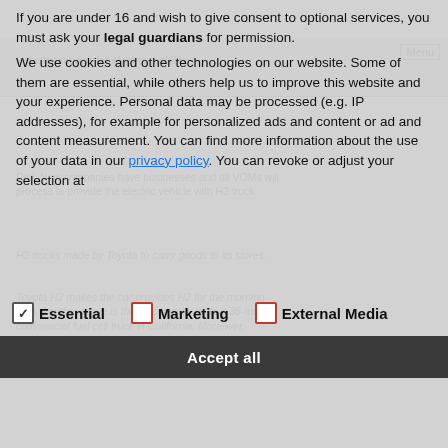If you are under 16 and wish to give consent to optional services, you must ask your legal guardians for permission. We use cookies and other technologies on our website. Some of them are essential, while others help us to improve this website and your experience. Personal data may be processed (e.g. IP addresses), for example for personalized ads and content or ad and content measurement. You can find more information about the use of your data in our privacy policy. You can revoke or adjust your selection at
Essential  Marketing  External Media
Accept all
Toyota intends to provide more than 100 units of its recently presented fuel cell bus concept Sora for the 2020 Olympic Games in Tokyo.
The bus is equipped with a system that was initially created for the Mirai. It features two fuel cell stacks, two motors as well as 10 hydrogen tanks and is able to absorb five times the H2 amount on the Mirai.